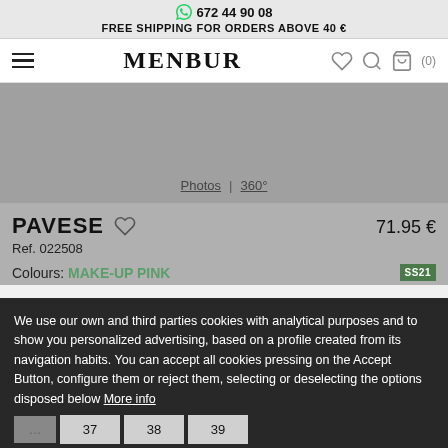672 44 90 08
FREE SHIPPING FOR ORDERS ABOVE 40 €
MENBUR
[Figure (screenshot): Product image placeholder area showing grey background with Photos | 360° navigation tabs]
PAVESE
Ref. 022508
71.95 €
Colours: MAKE-UP PINK
We use our own and third parties cookies with analytical purposes and to show you personalized advertising, based on a profile created from its navigation habits. You can accept all cookies pressing on the Accept Button, configure them or reject them, selecting or deselecting the options disposed below More info
37  38  39
ACCEPT ALL
SETTINGS
ADD TO CART